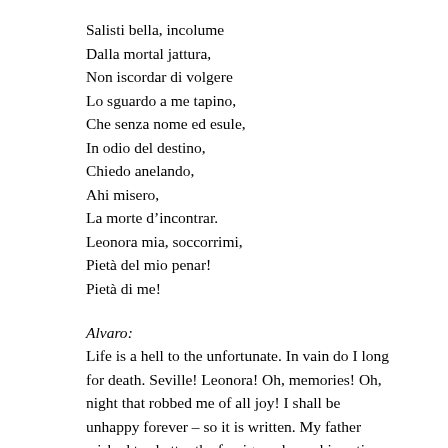Salisti bella, incolume
Dalla mortal jattura,
Non iscordar di volgere
Lo sguardo a me tapino,
Che senza nome ed esule,
In odio del destino,
Chiedo anelando,
Ahi misero,
La morte d’incontrar.
Leonora mia, soccorrimi,
Pietà del mio penar!
Pietà di me!
Alvaro:
Life is a hell to the unfortunate. In vain do I long for death. Seville! Leonora! Oh, memories! Oh, night that robbed me of all joy! I shall be unhappy forever – so it is written. My father wished to shatter the foreign yoke on his native land, and by uniting himself with the last of the Incas, thought to assume